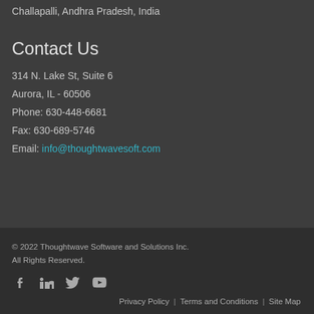Challapalli, Andhra Pradesh, India
Contact Us
314 N. Lake St, Suite 6
Aurora, IL - 60506
Phone: 630-448-6681
Fax: 630-689-5746
Email: info@thoughtwavesoft.com
© 2022 Thoughtwave Software and Solutions Inc. All Rights Reserved.
Privacy Policy | Terms and Conditions | Site Map